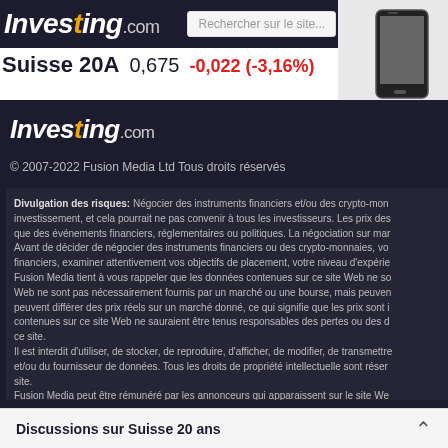Investing.com — Rechercher sur le site...
Suisse 20A  0,675  -0,022 (-3,16%)
[Figure (photo): Partial image of a smartphone/tablet device in the top-right corner]
[Figure (logo): Investing.com logo in white on dark background in footer]
© 2007-2022 Fusion Media Ltd Tous droits réservés
Divulgation des risques: Négocier des instruments financiers et/ou des crypto-mon... investissement, et cela pourrait ne pas convenir à tous les investisseurs. Les prix des que des événements financiers, réglementaires ou politiques. La négociation sur mar Avant de décider de négocier des instruments financiers ou des crypto-monnaies, vo financiers, examiner attentivement vos objectifs de placement, votre niveau d'expérie Fusion Media tient à vous rappeler que les données contenues sur ce site Web ne so Web ne sont pas nécessairement fournis par un marché ou une bourse, mais peuven peuvent différer des prix réels sur un marché donné, ce qui signifie que les prix sont i contenues sur ce site Web ne sauraient être tenus responsables des pertes ou des d ce site. Il est interdit d'utiliser, de stocker, de reproduire, d'afficher, de modifier, de transmettre et/ou du fournisseur de données. Tous les droits de propriété intellectuelle sont réser site. Fusion Media peut être rémunéré par les annonceurs qui apparaissent sur le site We La version anglaise de ce document est celle qui s'impose et qui prévaudra en cas de
Discussions sur Suisse 20 ans